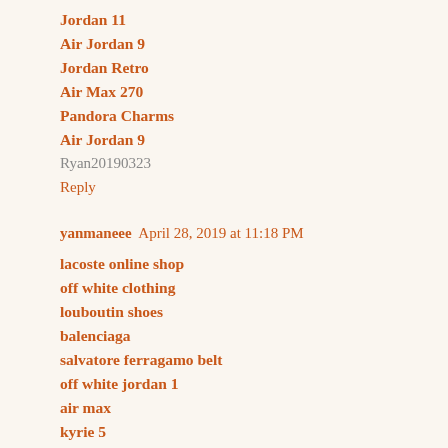Jordan 11
Air Jordan 9
Jordan Retro
Air Max 270
Pandora Charms
Air Jordan 9
Ryan20190323
Reply
yanmaneee  April 28, 2019 at 11:18 PM
lacoste online shop
off white clothing
louboutin shoes
balenciaga
salvatore ferragamo belt
off white jordan 1
air max
kyrie 5
fitflops sale clearance
nike react